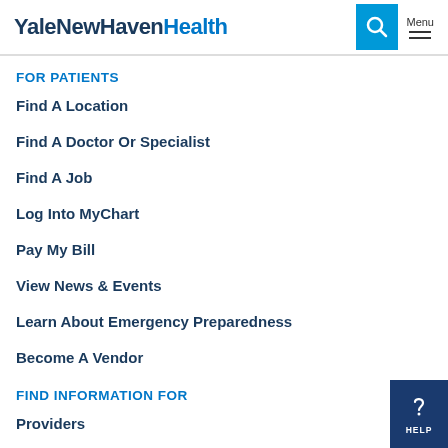YaleNewHavenHealth
FOR PATIENTS
Find A Location
Find A Doctor Or Specialist
Find A Job
Log Into MyChart
Pay My Bill
View News & Events
Learn About Emergency Preparedness
Become A Vendor
FIND INFORMATION FOR
Providers